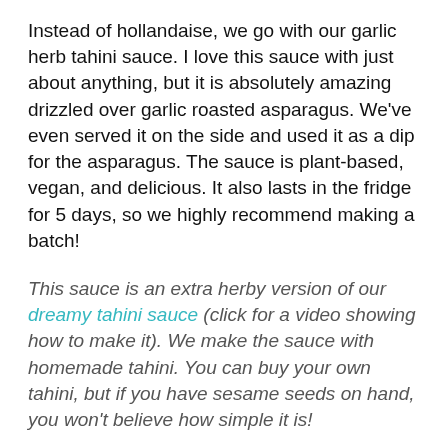Instead of hollandaise, we go with our garlic herb tahini sauce. I love this sauce with just about anything, but it is absolutely amazing drizzled over garlic roasted asparagus. We've even served it on the side and used it as a dip for the asparagus. The sauce is plant-based, vegan, and delicious. It also lasts in the fridge for 5 days, so we highly recommend making a batch!
This sauce is an extra herby version of our dreamy tahini sauce (click for a video showing how to make it). We make the sauce with homemade tahini. You can buy your own tahini, but if you have sesame seeds on hand, you won't believe how simple it is!